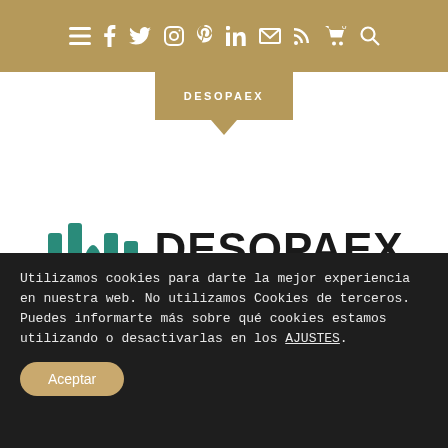Navigation bar with menu, social media icons (facebook, twitter, instagram, pinterest, linkedin, email, rss, cart, search)
DESOPAEX
[Figure (logo): DESOPAEX logo with teal architectural icon and bold black text 'DESOPAEX' and teal italic subtitle 'Desarrollo Sostenible']
Utilizamos cookies para darte la mejor experiencia en nuestra web. No utilizamos Cookies de terceros. Puedes informarte más sobre qué cookies estamos utilizando o desactivarlas en los AJUSTES.
Aceptar